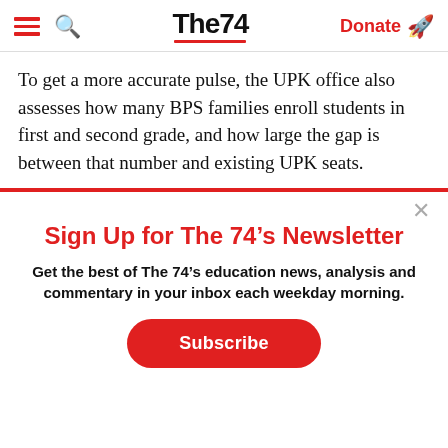The74 | Donate
To get a more accurate pulse, the UPK office also assesses how many BPS families enroll students in first and second grade, and how large the gap is between that number and existing UPK seats.
Sign Up for The 74's Newsletter
Get the best of The 74's education news, analysis and commentary in your inbox each weekday morning.
Subscribe